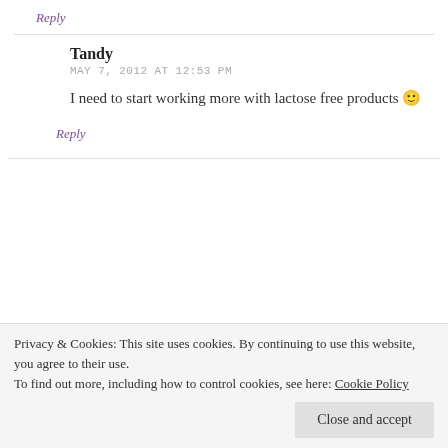Reply
Tandy
MAY 7, 2012 AT 12:53 PM
I need to start working more with lactose free products 🙂
Reply
Privacy & Cookies: This site uses cookies. By continuing to use this website, you agree to their use.
To find out more, including how to control cookies, see here: Cookie Policy
Close and accept
about the sucrose. The muffins look amazing and